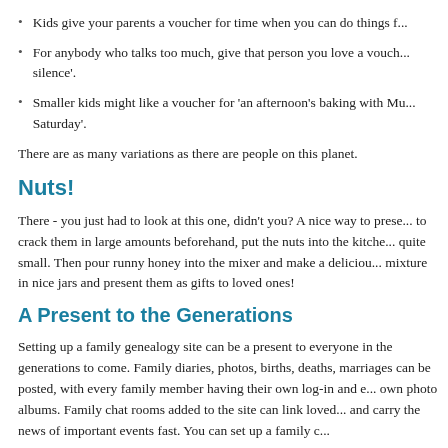Give your teenagers time; a 'voucher' for an afternoon doing something you both enjoy.
Kids give your parents a voucher for time when you can do things for them.
For anybody who talks too much, give that person you love a voucher for silence'.
Smaller kids might like a voucher for 'an afternoon's baking with Mu... Saturday'.
There are as many variations as there are people on this planet.
Nuts!
There - you just had to look at this one, didn't you? A nice way to present nuts is to crack them in large amounts beforehand, put the nuts into the kitchen mixer quite small. Then pour runny honey into the mixer and make a delicious mixture in nice jars and present them as gifts to loved ones!
A Present to the Generations
Setting up a family genealogy site can be a present to everyone in the generations to come. Family diaries, photos, births, deaths, marriages can be posted, with every family member having their own log-in and own photo albums. Family chat rooms added to the site can link loved ones and carry the news of important events fast. You can set up a family...